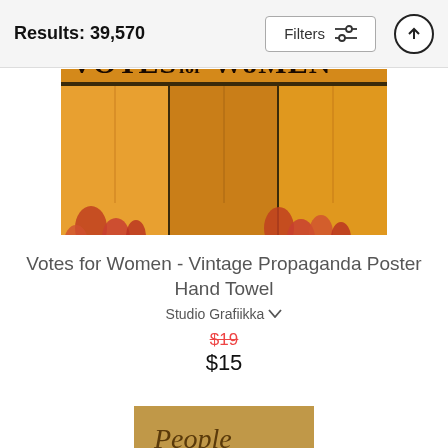Results: 39,570
Filters
[Figure (photo): Vintage 'Votes for Women' propaganda poster hand towel featuring orange/yellow background with floral decoration at the bottom]
Votes for Women - Vintage Propaganda Poster Hand Towel
Studio Grafiikka
$19 (strikethrough) $15
[Figure (photo): Partial view of a second product showing aged parchment-like text beginning with 'People']